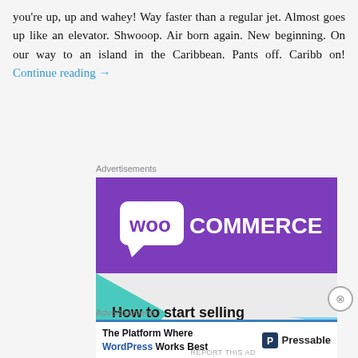you're up, up and wahey! Way faster than a regular jet. Almost goes up like an elevator. Shwooop. Air born again. New beginning. On our way to an island in the Caribbean. Pants off. Caribb on! Continue reading →
Advertisements
[Figure (other): WooCommerce advertisement banner showing logo and text 'How to start selling subscriptions online' with a 'Start a new store' button, purple and teal design]
Advertisements
[Figure (other): Pressable advertisement: 'The Platform Where WordPress Works Best' with Pressable logo]